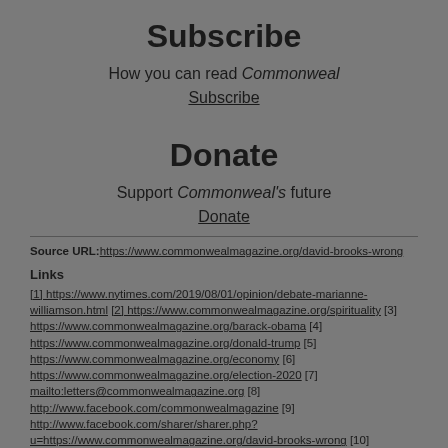Subscribe
How you can read Commonweal
Subscribe
Donate
Support Commonweal's future
Donate
Source URL: https://www.commonwealmagazine.org/david-brooks-wrong
Links
[1] https://www.nytimes.com/2019/08/01/opinion/debate-marianne-williamson.html [2] https://www.commonwealmagazine.org/spirituality [3] https://www.commonwealmagazine.org/barack-obama [4] https://www.commonwealmagazine.org/donald-trump [5] https://www.commonwealmagazine.org/economy [6] https://www.commonwealmagazine.org/election-2020 [7] mailto:letters@commonwealmagazine.org [8] http://www.facebook.com/commonwealmagazine [9] http://www.facebook.com/sharer/sharer.php?u=https://www.commonwealmagazine.org/david-brooks-wrong [10]